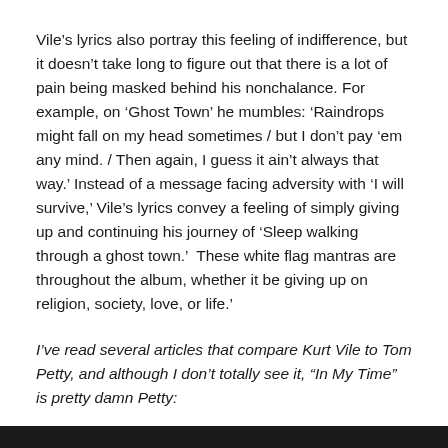Vile's lyrics also portray this feeling of indifference, but it doesn't take long to figure out that there is a lot of pain being masked behind his nonchalance. For example, on 'Ghost Town' he mumbles: 'Raindrops might fall on my head sometimes / but I don't pay 'em any mind. / Then again, I guess it ain't always that way.' Instead of a message facing adversity with 'I will survive,' Vile's lyrics convey a feeling of simply giving up and continuing his journey of 'Sleep walking through a ghost town.'  These white flag mantras are throughout the album, whether it be giving up on religion, society, love, or life.'
I've read several articles that compare Kurt Vile to Tom Petty, and although I don't totally see it, "In My Time" is pretty damn Petty: